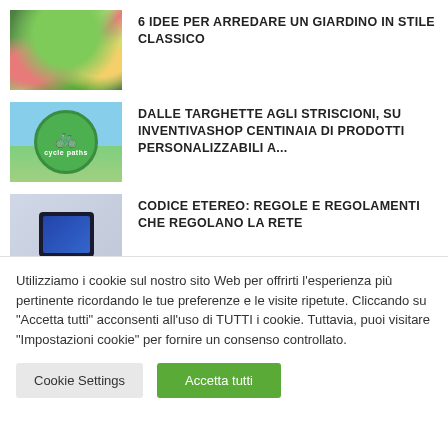[Figure (photo): Garden photo with fountain and colorful flowers]
6 IDEE PER ARREDARE UN GIARDINO IN STILE CLASSICO
[Figure (photo): Cycle paths green diamond road sign]
DALLE TARGHETTE AGLI STRISCIONI, SU INVENTIVASHOP CENTINAIA DI PRODOTTI PERSONALIZZABILI A...
[Figure (photo): Financial charts and tablet on desk]
CODICE ETEREO: REGOLE E REGOLAMENTI CHE REGOLANO LA RETE
Utilizziamo i cookie sul nostro sito Web per offrirti l'esperienza più pertinente ricordando le tue preferenze e le visite ripetute. Cliccando su "Accetta tutti" acconsenti all'uso di TUTTI i cookie. Tuttavia, puoi visitare "Impostazioni cookie" per fornire un consenso controllato.
Cookie Settings
Accetta tutti